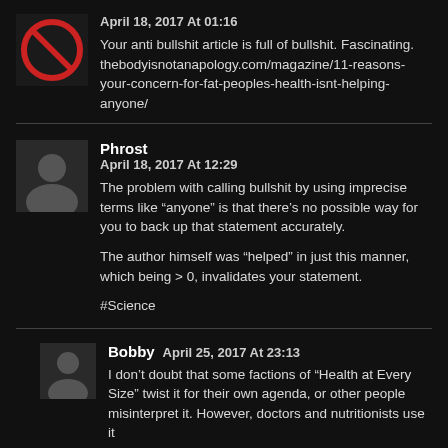[Figure (illustration): Avatar icon - red prohibition symbol on dark background]
April 18, 2017 At 01:16
Your anti bullshit article is full of bullshit. Fascinating. thebodyisnotanapology.com/magazine/11-reasons-your-concern-for-fat-peoples-health-isnt-helping-anyone/
[Figure (photo): Avatar - dark profile photo]
Phrost
April 18, 2017 At 12:29
The problem with calling bullshit by using imprecise terms like "anyone" is that there's no possible way for you to back up that statement accurately.

The author himself was "helped" in just this manner, which being > 0, invalidates your statement.

#Science
[Figure (photo): Avatar - dark profile photo for Bobby]
Bobby April 25, 2017 At 23:13
I don't doubt that some factions of "Health at Every Size" twist it for their own agenda, or other people misinterpret it. However, doctors and nutritionists use it